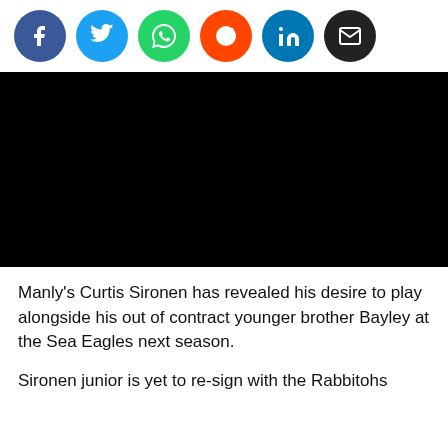[Figure (other): Row of social media share buttons: Facebook (blue circle), Twitter (light blue circle), WhatsApp (green circle), Reddit (orange circle), LinkedIn (dark blue circle), Email (black circle)]
[Figure (photo): A large black rectangle placeholder representing an embedded video or image area]
Manly's Curtis Sironen has revealed his desire to play alongside his out of contract younger brother Bayley at the Sea Eagles next season.
Sironen junior is yet to re-sign with the Rabbitohs